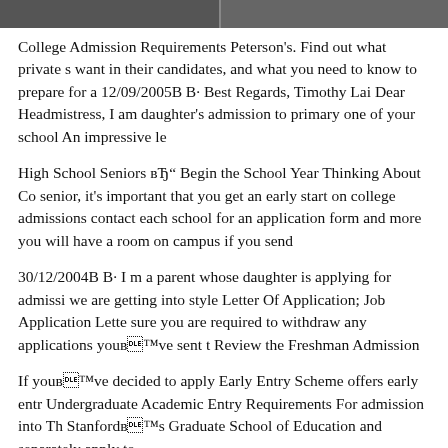[Figure (photo): Partial photo strip at the top of the page showing two images side by side (people/students), cropped at the bottom of the strip.]
College Admission Requirements Peterson's. Find out what private s want in their candidates, and what you need to know to prepare for a 12/09/2005B B· Best Regards, Timothy Lai Dear Headmistress, I am daughter's admission to primary one of your school An impressive le
High School Seniors вЂ" Begin the School Year Thinking About Co senior, it's important that you get an early start on college admissions contact each school for an application form and more you will have a room on campus if you send
30/12/2004B B· I m a parent whose daughter is applying for admissi we are getting into style Letter Of Application; Job Application Lette sure you are required to withdraw any applications youвЂ™ve sent t Review the Freshman Admission
If youвЂ™ve decided to apply Early Entry Scheme offers early entr Undergraduate Academic Entry Requirements For admission into Th StanfordвЂ™s Graduate School of Education and separately apply to